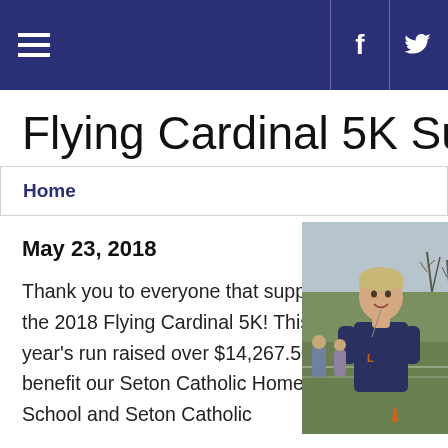Flying Cardinal 5K Success
Home
Flying Cardinal 5K Suc
May 23, 2018
Thank you to everyone that supported the 2018 Flying Cardinal 5K! This year's run raised over $14,267.50 to benefit our Seton Catholic Home & School and Seton Catholic
[Figure (photo): A smiling young person wearing a dark blue t-shirt with an athletic logo, outdoors with trees and fencing in the background.]